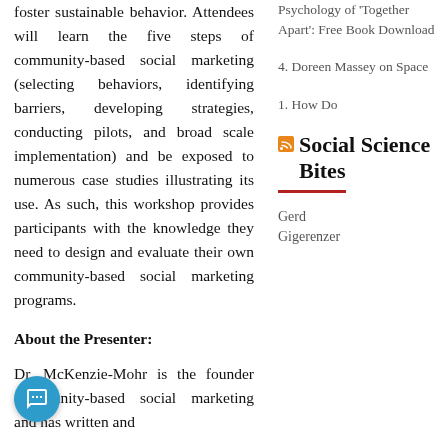foster sustainable behavior. Attendees will learn the five steps of community-based social marketing (selecting behaviors, identifying barriers, developing strategies, conducting pilots, and broad scale implementation) and be exposed to numerous case studies illustrating its use. As such, this workshop provides participants with the knowledge they need to design and evaluate their own community-based social marketing programs.
About the Presenter:
Dr. McKenzie-Mohr is the founder community-based social marketing and has written and
Psychology of 'Together Apart': Free Book Download
4. Doreen Massey on Space
1. How Do
Social Science Bites
Gerd Gigerenzer